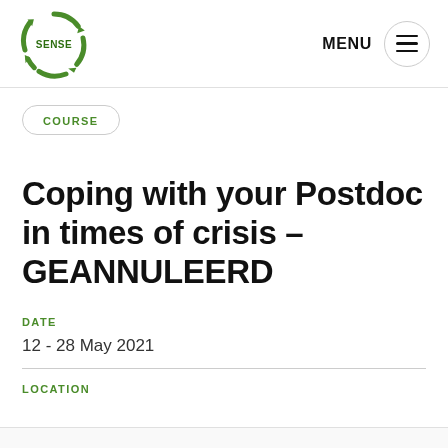[Figure (logo): SENSE logo: circular dashed green ring with 'SENSE' text in the center, green arrows forming a cycle]
MENU
COURSE
Coping with your Postdoc in times of crisis – GEANNULEERD
DATE
12 - 28 May 2021
LOCATION